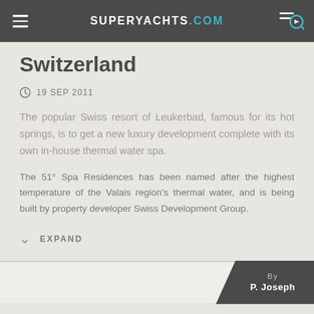SUPERYACHTS.COM
Switzerland
19 SEP 2011
The popular Swiss resort of Leukerbad, famous for its hot springs, is to get a new luxury development complete with its own in-house thermal water spa.
The 51° Spa Residences has been named after the highest temperature of the Valais region's thermal water, and is being built by property developer Swiss Development Group.
EXPAND
By P. Joseph